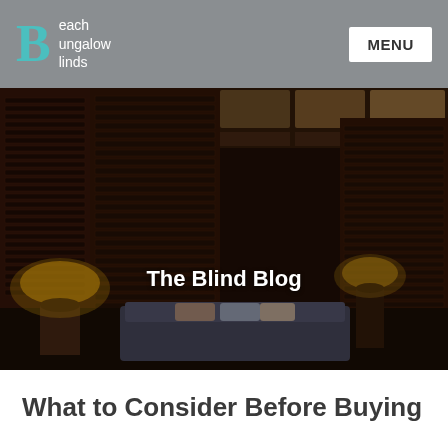Beach Bungalow Blinds | MENU
[Figure (photo): Dark wood-paneled room interior with large wooden plantation shutters on multiple tall windows, a sofa with decorative pillows, two table lamps, and warm ambient lighting. Overlay text reads 'The Blind Blog'.]
What to Consider Before Buying